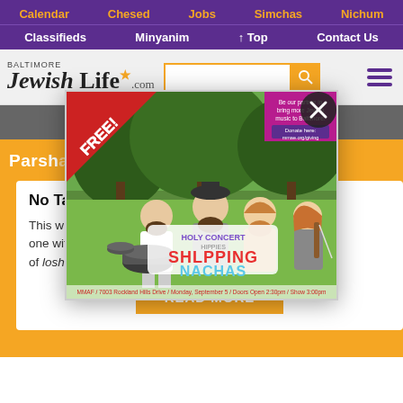Calendar  Chesed  Jobs  Simchas  Nichum
Classifieds  Minyanim  ↑ Top  Contact Us
[Figure (screenshot): Baltimore Jewish Life .com logo with search box and hamburger menu]
[Figure (screenshot): Background ad showing phone number (240) 396-3115]
Parsha
No Tale...
This w... just having one witness testify against someone, which is a violation of loshon hora.
[Figure (screenshot): Popup ad for Holy Concert Shleping Nachas - FREE concert, MMAF / 7003 Rockland Hills Drive / Monday, September 5 / Doors Open 2:30pm / Show 3:00pm. Donate here: mmae.org/giving]
READ MORE